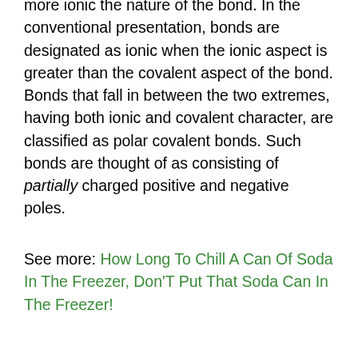more ionic the nature of the bond. In the conventional presentation, bonds are designated as ionic when the ionic aspect is greater than the covalent aspect of the bond. Bonds that fall in between the two extremes, having both ionic and covalent character, are classified as polar covalent bonds. Such bonds are thought of as consisting of partially charged positive and negative poles.
See more: How Long To Chill A Can Of Soda In The Freezer, Don'T Put That Soda Can In The Freezer!
Though ionic and covalent character represent points along a continuum, these designations are frequently useful in understanding and comparing the macroscopic properties of ionic and covalent compounds. For example, ionic compounds typically have higher boiling and melting points, and they are also usually more soluble in water than covalent